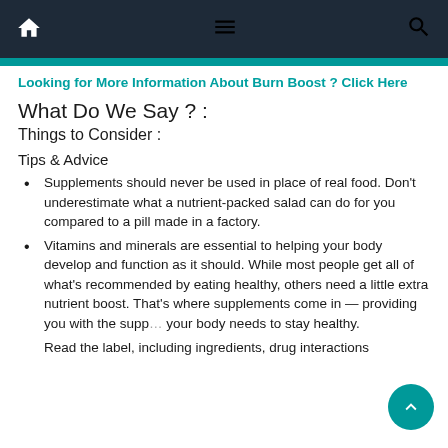Navigation bar with home, menu, and search icons
Looking for More Information About Burn Boost ? Click Here
What Do We Say ? :
Things to Consider :
Tips & Advice
Supplements should never be used in place of real food. Don't underestimate what a nutrient-packed salad can do for you compared to a pill made in a factory.
Vitamins and minerals are essential to helping your body develop and function as it should. While most people get all of what's recommended by eating healthy, others need a little extra nutrient boost. That's where supplements come in — providing you with the supp… your body needs to stay healthy.
Read the label, including ingredients, drug interactions